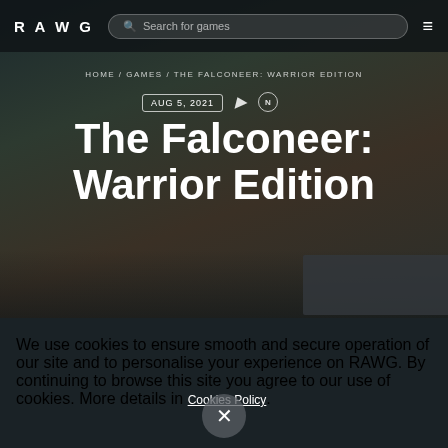RAWG
Search for games
HOME / GAMES / THE FALCONEER: WARRIOR EDITION
AUG 5, 2021
The Falconeer: Warrior Edition
We use cookies to ensure smooth and secure operation of our site and to personalise your experience on RAWG. By continuing to browse this site you agree to our use of cookies. More details in Cookies Policy.